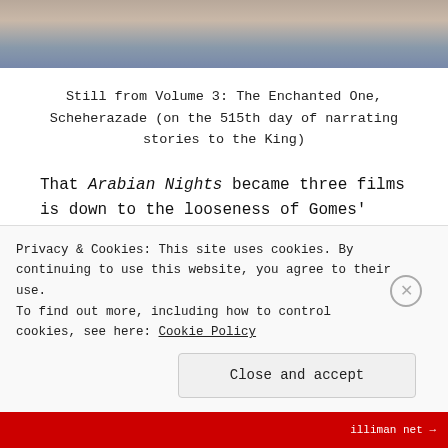[Figure (photo): Cropped photo showing a person with bluish/purple fabric, partial view from top of page]
Still from Volume 3: The Enchanted One, Scheherazade (on the 515th day of narrating stories to the King)
That Arabian Nights became three films is down to the looseness of Gomes' production plan at the outset, and the resulting volume of footage shot – somewhere there is a nine hour version of the film. In an interview with cinema scope, Gomes talks of the film
Privacy & Cookies: This site uses cookies. By continuing to use this website, you agree to their use. To find out more, including how to control cookies, see here: Cookie Policy
Close and accept